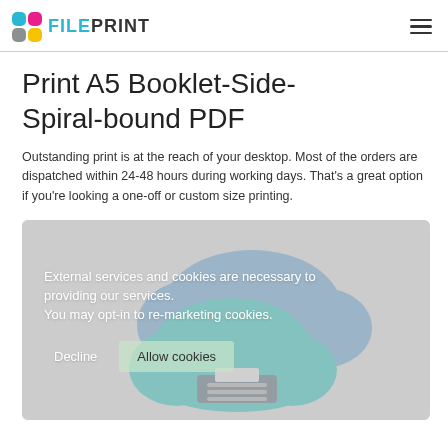FILEPRINT
Print A5 Booklet-Side-Spiral-bound PDF
Outstanding print is at the reach of your desktop. Most of the orders are dispatched within 24-48 hours during working days. That's a great option if you're looking a one-off or custom size printing.
[Figure (illustration): Cloud-based printing service illustration with blue and teal cloud shapes and a printer, overlaid with a cookie consent dialog containing text: 'External services and cookies are necessary to providing our services. You may opt-in to re-marketing cookies.' and buttons 'Decline' and 'Allow cookies'.]